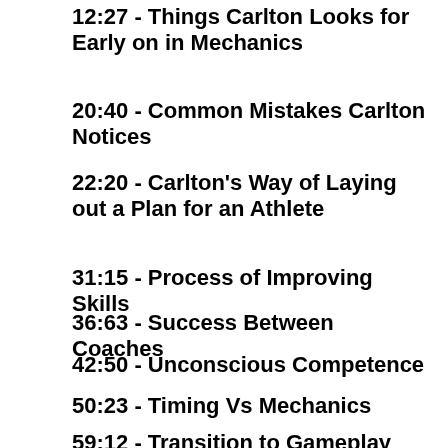12:27 - Things Carlton Looks for Early on in Mechanics
20:40 - Common Mistakes Carlton Notices
22:20 - Carlton's Way of Laying out a Plan for an Athlete
31:15 - Process of Improving Skills
36:63 - Success Between Coaches
42:50 - Unconscious Competence
50:23 - Timing Vs Mechanics
59:12 - Transition to Gameplay